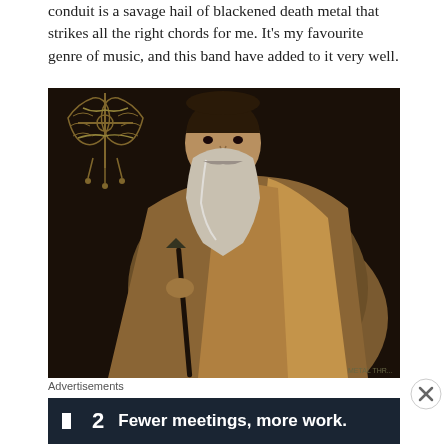...conduit is a savage hail of blackened death metal that strikes all the right chords for me. It's my favourite genre of music, and this band have added to it very well.
[Figure (photo): Album cover image showing a classical-style painting of a bearded elder man in robes holding a staff, with an ornate black metal band logo overlaid in the upper left corner in gold/dark gold color.]
Advertisements
[Figure (screenshot): Advertisement banner with dark navy background showing a small square icon, the number 2, and the text 'Fewer meetings, more work.' in bold white font.]